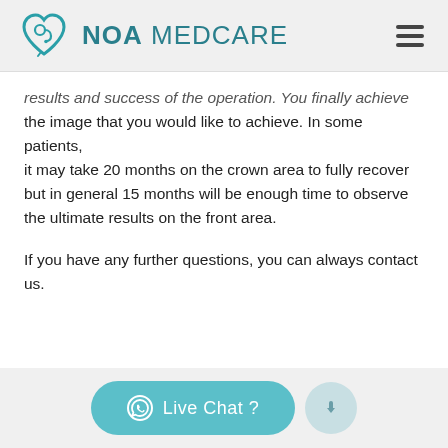NOA MEDCARE
results and success of the operation. You finally achieve the image that you would like to achieve. In some patients, it may take 20 months on the crown area to fully recover but in general 15 months will be enough time to observe the ultimate results on the front area.

If you have any further questions, you can always contact us.